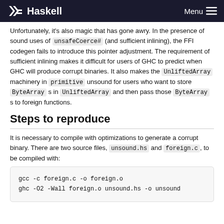Haskell  Menu
Unfortunately, it's also magic that has gone awry. In the presence of sound uses of unsafeCoerce# (and sufficient inlining), the FFI codegen fails to introduce this pointer adjustment. The requirement of sufficient inlining makes it difficult for users of GHC to predict when GHC will produce corrupt binaries. It also makes the UnliftedArray machinery in primitive unsound for users who want to store ByteArray s in UnliftedArray and then pass those ByteArray s to foreign functions.
Steps to reproduce
It is necessary to compile with optimizations to generate a corrupt binary. There are two source files, unsound.hs and foreign.c, to be compiled with:
gcc -c foreign.c -o foreign.o
ghc -O2 -Wall foreign.o unsound.hs -o unsound